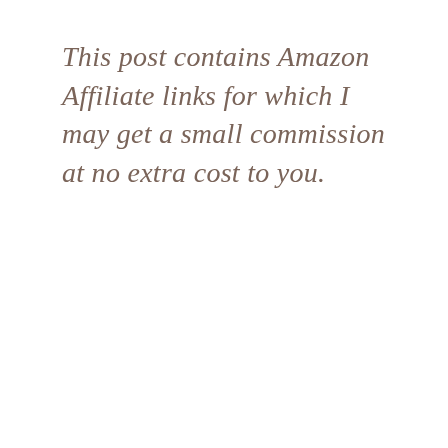This post contains Amazon Affiliate links for which I may get a small commission at no extra cost to you.